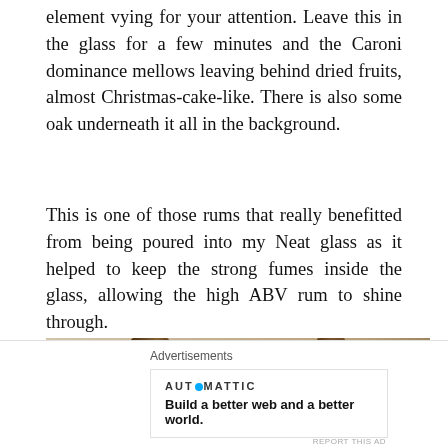element vying for your attention. Leave this in the glass for a few minutes and the Caroni dominance mellows leaving behind dried fruits, almost Christmas-cake-like. There is also some oak underneath it all in the background.
This is one of those rums that really benefitted from being poured into my Neat glass as it helped to keep the strong fumes inside the glass, allowing the high ABV rum to shine through.
[Figure (photo): Close-up photo of tree trunks or wooden posts in warm sandy/beige background light]
Advertisements
AUT⊙MATTIC
Build a better web and a better world.